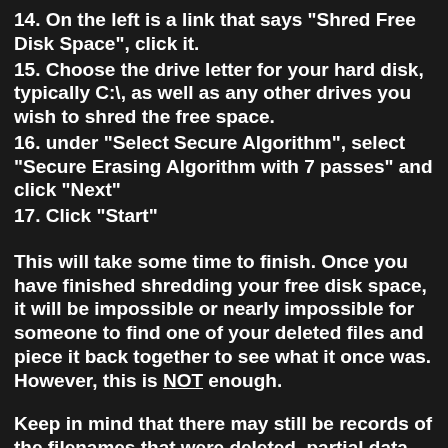14. On the left is a link that says "Shred Free Disk Space", click it.
15. Choose the drive letter for your hard disk, typically C:\, as well as any other drives you wish to shred the free space.
16. under "Select Secure Algorithm", select "Secure Erasing Algorithm with 7 passes" and click "Next"
17. Click "Start"
This will take some time to finish. Once you have finished shredding your free disk space, it will be impossible or nearly impossible for someone to find one of your deleted files and piece it back together to see what it once was. However, this is NOT enough.
Keep in mind that there may still be records of the filenames that were deleted, partial data from those files, image thumbnails, and more that may be enough to...